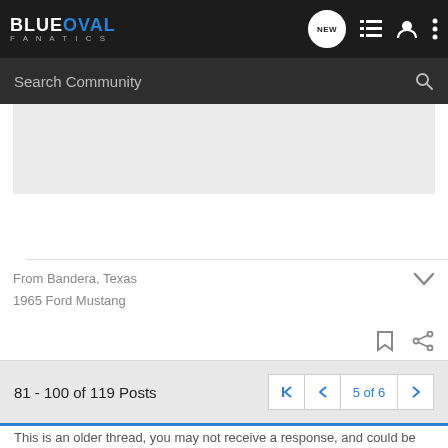BLUEOVAL FANATICS — navigation bar with search
[Figure (screenshot): Grey advertisement or content placeholder area]
From Bandera, Texas
1965 Ford Mustang
81 - 100 of 119 Posts
5 of 6
This is an older thread, you may not receive a response, and could be...